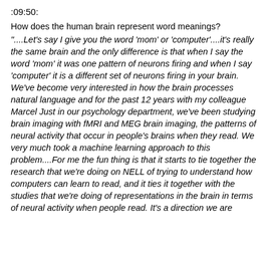:09:50:
How does the human brain represent word meanings?
"....Let's say I give you the word 'mom' or 'computer'....it's really the same brain and the only difference is that when I say the word 'mom' it was one pattern of neurons firing and when I say 'computer' it is a different set of neurons firing in your brain. We've become very interested in how the brain processes natural language and for the past 12 years with my colleague Marcel Just in our psychology department, we've been studying brain imaging with fMRI and MEG brain imaging, the patterns of neural activity that occur in people's brains when they read. We very much took a machine learning approach to this problem....For me the fun thing is that it starts to tie together the research that we're doing on NELL of trying to understand how computers can learn to read, and it ties it together with the studies that we're doing of representations in the brain in terms of neural activity when people read. It's a direction we are